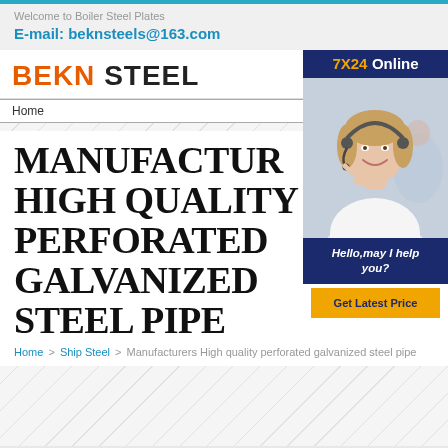Welcome to Boiler Steel Plates
E-mail: beknsteels@163.com
BEKN STEEL
Home
[Figure (photo): Customer service agent wearing headset, smiling, with 7X24 Online banner and Hello may I help you chat bubble and Get Latest Price button]
MANUFACTURERS HIGH QUALITY PERFORATED GALVANIZED STEEL PIPE
Home > Ship Steel > Manufacturers High quality perforated galvanized steel pipe